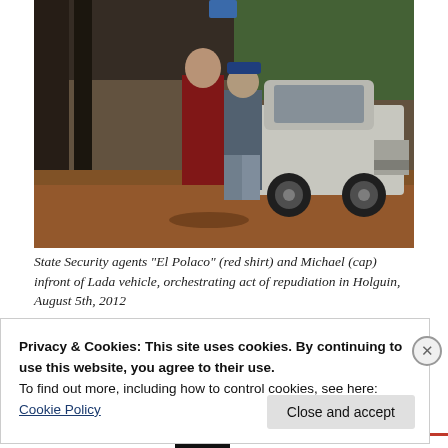[Figure (photo): Surveillance or low-quality color photograph showing two people standing in front of a white Lada vehicle on a dirt road with trees in the background. One person wears a red shirt, the other wears a cap.]
State Security agents “El Polaco” (red shirt) and Michael (cap) infront of Lada vehicle, orchestrating act of repudiation in Holguin, August 5th, 2012
Privacy & Cookies: This site uses cookies. By continuing to use this website, you agree to their use.
To find out more, including how to control cookies, see here:
Cookie Policy